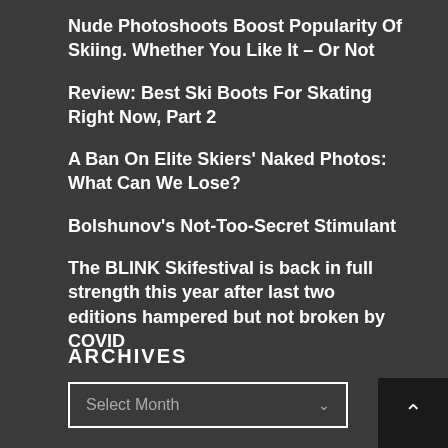Nude Photoshoots Boost Popularity Of Skiing. Whether You Like It – Or Not
Review: Best Ski Boots For Skating Right Now, Part 2
A Ban On Elite Skiers' Naked Photos: What Can We Lose?
Bolshunov's Not-Too-Secret Stimulant
The BLINK Skifestival is back in full strength this year after last two editions hampered but not broken by COVID
ARCHIVES